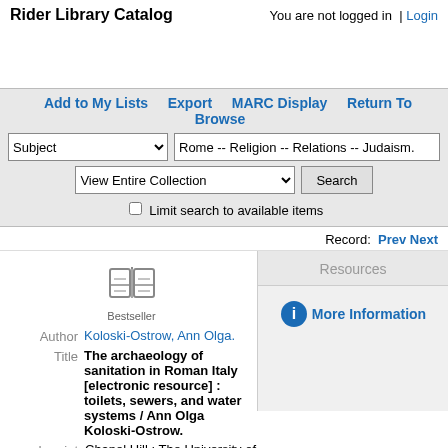Rider Library Catalog   You are not logged in  | Login
Add to My Lists  Export  MARC Display  Return To Browse
Subject dropdown | Rome -- Religion -- Relations -- Judaism.
View Entire Collection dropdown | Search button
Limit search to available items
Record:  Prev  Next
Resources
[Figure (illustration): Book icon labeled Bestseller]
More Information
Author  Koloski-Ostrow, Ann Olga.
Title  The archaeology of sanitation in Roman Italy [electronic resource] : toilets, sewers, and water systems / Ann Olga Koloski-Ostrow.
Imprint  Chapel Hill : The University of North Carolina Press, 2015.
Online access
Online eBook. Access restricted to current Rider University students, faculty, and staff.